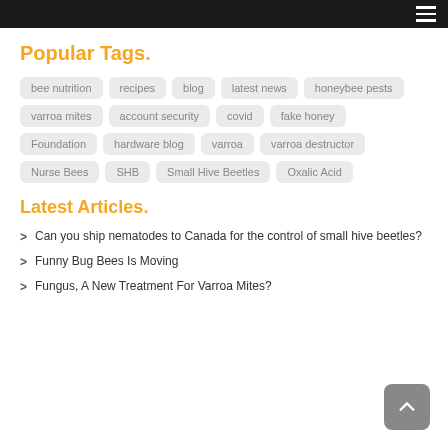Navigation menu
Popular Tags.
bee nutrition
recipes
blog
latest news
honeybee pests
varroa mites
account security
covid
fake honey
Foundation
hardware blog
varroa
varroa destructor
Nurse Bees
SHB
Small Hive Beetles
Oxalic Acid
Latest Articles.
Can you ship nematodes to Canada for the control of small hive beetles?
Funny Bug Bees Is Moving
Fungus, A New Treatment For Varroa Mites?